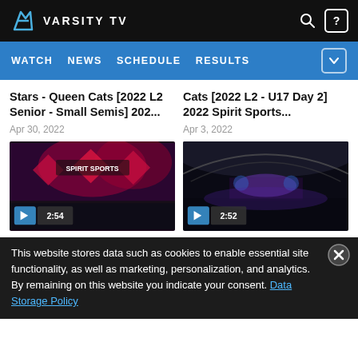VARSITY TV — WATCH | NEWS | SCHEDULE | RESULTS
Stars - Queen Cats [2022 L2 Senior - Small Semis] 202...
Apr 30, 2022
[Figure (screenshot): Video thumbnail showing Spirit Sports cheerleading performance with colorful stage lighting, play button and duration 2:54]
Cats [2022 L2 - U17 Day 2] 2022 Spirit Sports...
Apr 3, 2022
[Figure (screenshot): Video thumbnail showing cheerleading competition in large arena, play button and duration 2:52]
This website stores data such as cookies to enable essential site functionality, as well as marketing, personalization, and analytics. By remaining on this website you indicate your consent. Data Storage Policy